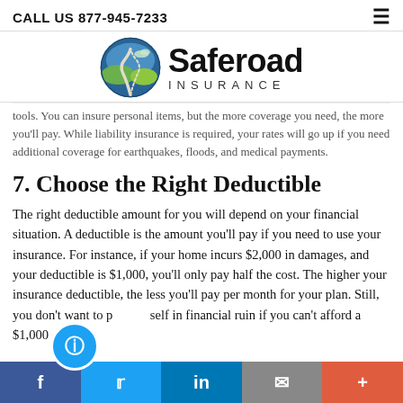CALL US 877-945-7233
[Figure (logo): Saferoad Insurance logo with circular emblem showing a road and green hills, and text 'Saferoad INSURANCE']
tools. You can insure personal items, but the more coverage you need, the more you'll pay. While liability insurance is required, your rates will go up if you need additional coverage for earthquakes, floods, and medical payments.
7. Choose the Right Deductible
The right deductible amount for you will depend on your financial situation. A deductible is the amount you'll pay if you need to use your insurance. For instance, if your home incurs $2,000 in damages, and your deductible is $1,000, you'll only pay half the cost. The higher your insurance deductible, the less you'll pay per month for your plan. Still, you don't want to put yourself in financial ruin if you can't afford a $1,000
f  t  in  ✉  +